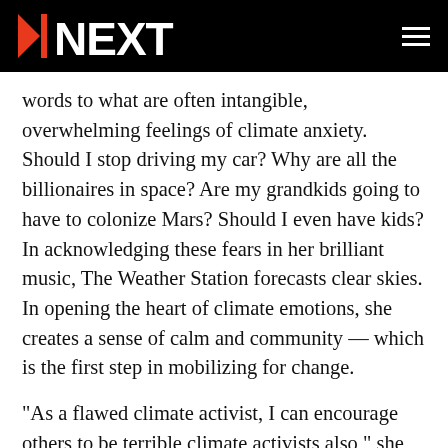NEXT
words to what are often intangible, overwhelming feelings of climate anxiety. Should I stop driving my car? Why are all the billionaires in space? Are my grandkids going to have to colonize Mars? Should I even have kids? In acknowledging these fears in her brilliant music, The Weather Station forecasts clear skies. In opening the heart of climate emotions, she creates a sense of calm and community — which is the first step in mobilizing for change.
“As a flawed climate activist, I can encourage others to be terrible climate activists also,” she announces with humoured resolve.
(truncated)